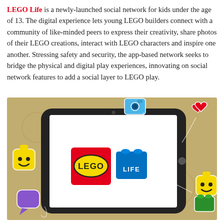LEGO Life is a newly-launched social network for kids under the age of 13. The digital experience lets young LEGO builders connect with a community of like-minded peers to express their creativity, share photos of their LEGO creations, interact with LEGO characters and inspire one another. Stressing safety and security, the app-based network seeks to bridge the physical and digital play experiences, innovating on social network features to add a social layer to LEGO play.
[Figure (photo): A tablet device displaying the LEGO Life app logo (LEGO red square logo alongside a blue LEGO brick with 'LIFE' text), surrounded by LEGO-themed emoji stickers including a camera, heart, LEGO minifigure heads, a purple speech bubble, and green LEGO brick on a tan/kraft paper textured background.]